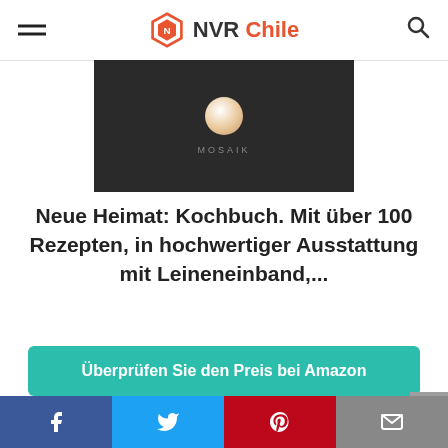NVR Chile
[Figure (photo): Book cover with dark background, white/orange ball, and MOSAIK text at bottom]
Neue Heimat: Kochbuch. Mit über 100 Rezepten, in hochwertiger Ausstattung mit Leineneinband,...
Überprüfen Sie den Preis bei Amazon
Amazon.de
Free shipping
Facebook Twitter Pinterest Email